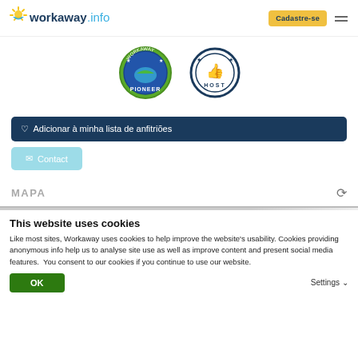workaway.info | Cadastre-se
[Figure (logo): Workaway.info logo with sun icon]
[Figure (illustration): Two badge icons: PIONEER badge (green/blue circular badge) and HOST badge (dark blue circular badge)]
♡ Adicionar à minha lista de anfitriões
✉ Contact
MAPA
This website uses cookies
Like most sites, Workaway uses cookies to help improve the website's usability. Cookies providing anonymous info help us to analyse site use as well as improve content and present social media features.  You consent to our cookies if you continue to use our website.
OK
Settings